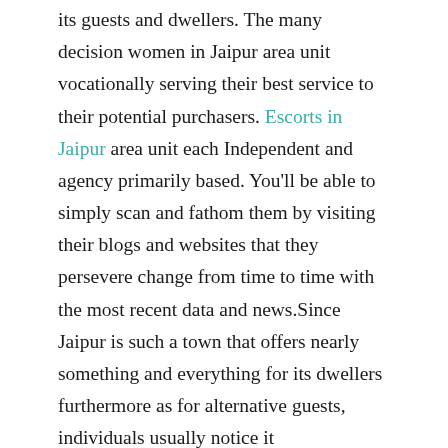its guests and dwellers. The many decision women in Jaipur area unit vocationally serving their best service to their potential purchasers. Escorts in Jaipur area unit each Independent and agency primarily based. You'll be able to simply scan and fathom them by visiting their blogs and websites that they persevere change from time to time with the most recent data and news.Since Jaipur is such a town that offers nearly something and everything for its dwellers furthermore as for alternative guests, individuals usually notice it extraordinarily snug to ascertain business and profession High profile Jaipur Escorts regarding varied fields that helps them to receive most profit resulting in a undefeated conclusion.
Welcome to Jaipur Independent Escort Call Girl Service. In this escort directory section you find Jaipur